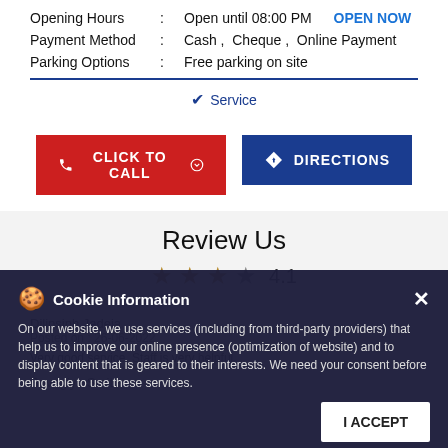Opening Hours : Open until 08:00 PM   OPEN NOW
Payment Method : Cash , Cheque , Online Payment
Parking Options : Free parking on site
✔ Service
[Figure (screenshot): Two buttons: red CLICK TO CALL and blue DIRECTIONS]
Review Us
[Figure (infographic): Cookie Information overlay with accept button]
Dilipsinh Jadeja
Posted on : 26-06-2022
Very good service. Staff is very helpful.
Suvagiya Smit